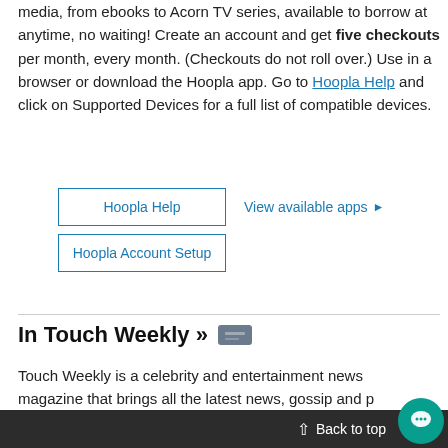media, from ebooks to Acorn TV series, available to borrow at anytime, no waiting! Create an account and get five checkouts per month, every month. (Checkouts do not roll over.) Use in a browser or download the Hoopla app. Go to Hoopla Help and click on Supported Devices for a full list of compatible devices.
Hoopla Help | View available apps ▶
Hoopla Account Setup
In Touch Weekly »
Touch Weekly is a celebrity and entertainment news magazine that brings all the latest news, gossip and p...